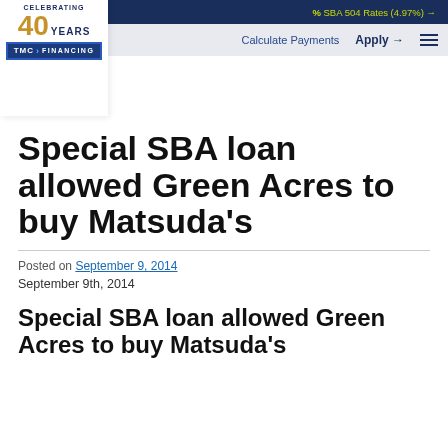CELEBRATING 40 YEARS | TMC FINANCING | % SBA 504 Rates (4.97%) → | Calculate Payments | Apply → ☰
Special SBA loan allowed Green Acres to buy Matsuda's
Posted on September 9, 2014
September 9th, 2014
Special SBA loan allowed Green Acres to buy Matsuda's